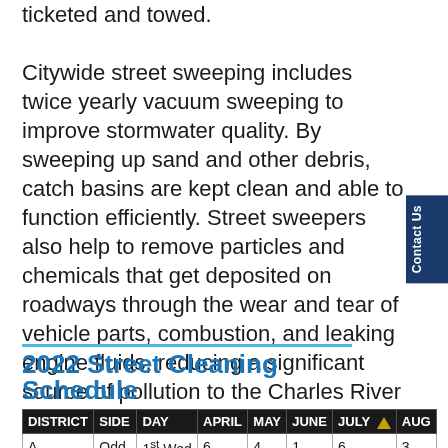ticketed and towed. Citywide street sweeping includes twice yearly vacuum sweeping to improve stormwater quality. By sweeping up sand and other debris, catch basins are kept clean and able to function efficiently. Street sweepers also help to remove particles and chemicals that get deposited on roadways through the wear and tear of vehicle parts, combustion, and leaking engine fluids, reducing a significant source of pollution to the Charles River and the Alewife Brook.
2022 Street Cleaning Schedule
*Indicates sch 617
| DISTRICT | SIDE | DAY | APRIL | MAY | JUNE | JULY | AUG |
| --- | --- | --- | --- | --- | --- | --- | --- |
| A | Odd | 1st Wed | 6 | 4 | 1 | 6 | 3 |
| A | Even | 1st Thu | 7 | 5 | 2 | 7 | 4 |